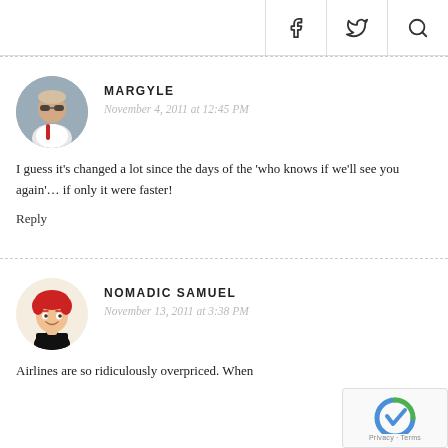f  twitter  search icons
MARGYLE
November 4, 2011 at 12:45 PM
I guess it's changed a lot since the days of the 'who knows if we'll see you again'… if only it were faster!
Reply
NOMADIC SAMUEL
November 13, 2011 at 3:38 PM
Airlines are so ridiculously overpriced. When